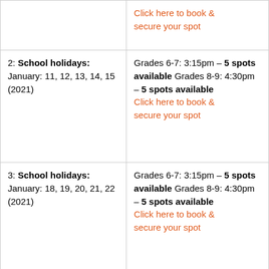|  | Click here to book & secure your spot |
| 2: School holidays:
January: 11, 12, 13, 14, 15 (2021) | Grades 6-7: 3:15pm – 5 spots available Grades 8-9: 4:30pm – 5 spots available
Click here to book & secure your spot |
| 3: School holidays:
January: 18, 19, 20, 21, 22 (2021) | Grades 6-7: 3:15pm – 5 spots available Grades 8-9: 4:30pm – 5 spots available
Click here to book & secure your spot |
|  | Grades 6-7: 3:15pm – 5 |